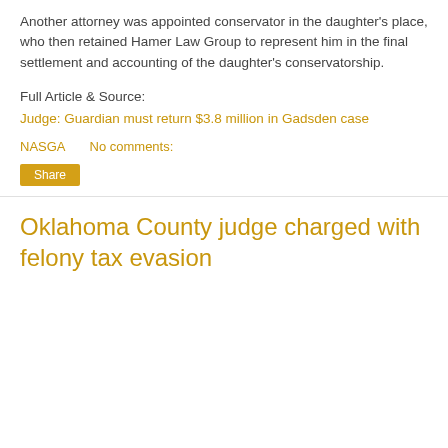Another attorney was appointed conservator in the daughter's place, who then retained Hamer Law Group to represent him in the final settlement and accounting of the daughter's conservatorship.
Full Article & Source:
Judge: Guardian must return $3.8 million in Gadsden case
NASGA    No comments:
Share
Oklahoma County judge charged with felony tax evasion